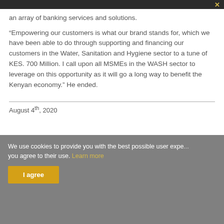an array of banking services and solutions.
“Empowering our customers is what our brand stands for, which we have been able to do through supporting and financing our customers in the Water, Sanitation and Hygiene sector to a tune of KES. 700 Million. I call upon all MSMEs in the WASH sector to leverage on this opportunity as it will go a long way to benefit the Kenyan economy.” He ended.
August 4th, 2020
We use cookies to provide you with the best possible user experience, you agree to their use. Learn more